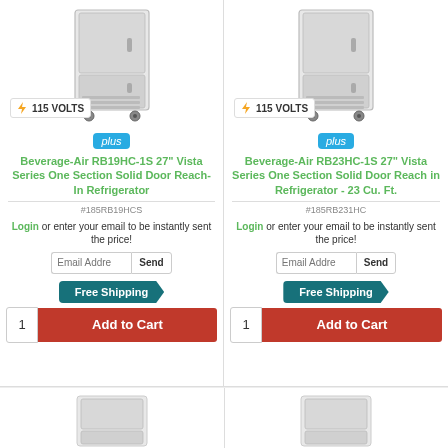[Figure (photo): Stainless steel single-door reach-in refrigerator on casters, left product]
115 VOLTS
plus
Beverage-Air RB19HC-1S 27" Vista Series One Section Solid Door Reach-In Refrigerator
#185RB19HCS
Login or enter your email to be instantly sent the price!
Free Shipping
1
Add to Cart
[Figure (photo): Stainless steel single-door reach-in refrigerator on casters, right product]
115 VOLTS
plus
Beverage-Air RB23HC-1S 27" Vista Series One Section Solid Door Reach in Refrigerator - 23 Cu. Ft.
#185RB231HC
Login or enter your email to be instantly sent the price!
Free Shipping
1
Add to Cart